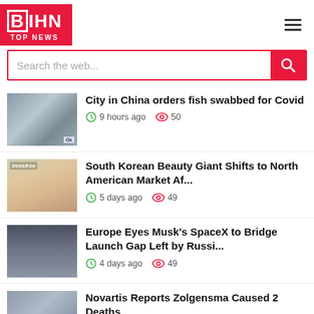BIHN TOP NEWS
Search the web...
City in China orders fish swabbed for Covid
9 hours ago  50
South Korean Beauty Giant Shifts to North American Market Af...
5 days ago  49
Europe Eyes Musk's SpaceX to Bridge Launch Gap Left by Russi...
4 days ago  49
Novartis Reports Zolgensma Caused 2 Deaths